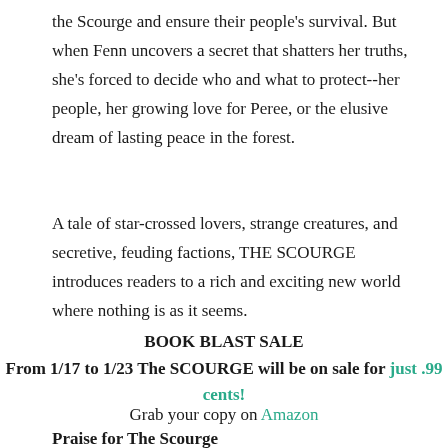the Scourge and ensure their people's survival. But when Fenn uncovers a secret that shatters her truths, she's forced to decide who and what to protect--her people, her growing love for Peree, or the elusive dream of lasting peace in the forest.
A tale of star-crossed lovers, strange creatures, and secretive, feuding factions, THE SCOURGE introduces readers to a rich and exciting new world where nothing is as it seems.
BOOK BLAST SALE
From 1/17 to 1/23 The SCOURGE will be on sale for just .99 cents!
Grab your copy on Amazon
Praise for The Scourge